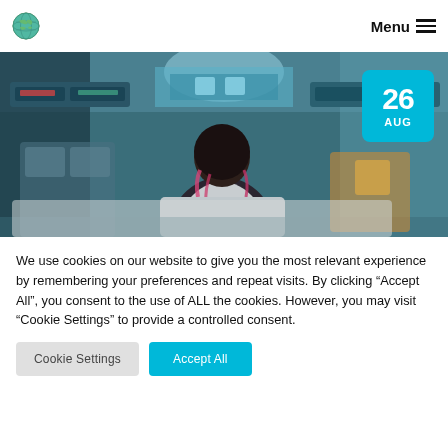Menu
[Figure (photo): Interior of a bus or subway car with a woman with pink-tipped hair seen from behind; a cyan date badge showing '26 AUG' is overlaid on the top right]
We use cookies on our website to give you the most relevant experience by remembering your preferences and repeat visits. By clicking “Accept All”, you consent to the use of ALL the cookies. However, you may visit “Cookie Settings” to provide a controlled consent.
Cookie Settings | Accept All